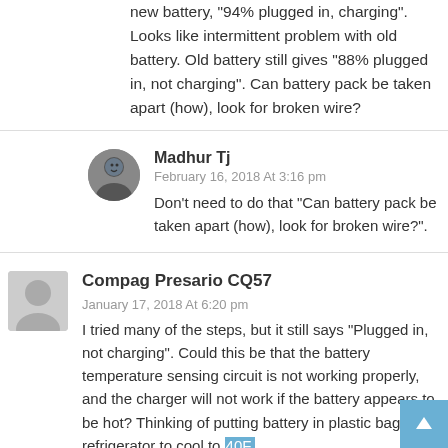new battery, “94% plugged in, charging”. Looks like intermittent problem with old battery. Old battery still gives “88% plugged in, not charging”. Can battery pack be taken apart (how), look for broken wire?
Madhur Tj
February 16, 2018 At 3:16 pm
Don’t need to do that “Can battery pack be taken apart (how), look for broken wire?”.
Compag Presario CQ57
January 17, 2018 At 6:20 pm
I tried many of the steps, but it still says “Plugged in, not charging”. Could this be that the battery temperature sensing circuit is not working properly, and the charger will not work if the battery appears to be hot? Thinking of putting battery in plastic bag in refrigerator to cool to 40F, and see if it then starts charging..